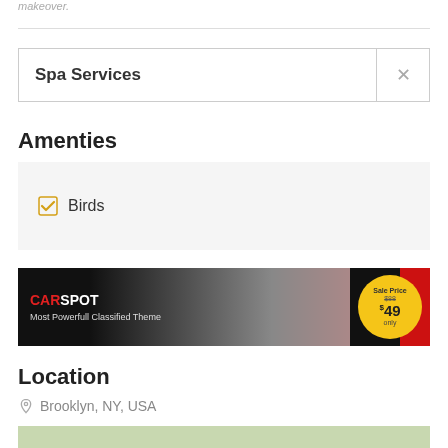makeover.
Spa Services
Amenties
Birds
[Figure (illustration): CARSPOT advertisement banner: dark background with a silver SUV car, text 'CARSPOT Most Powerfull Classified Theme', gold circle with 'Sale Price $88 $49 only', red corner accent]
Location
Brooklyn, NY, USA